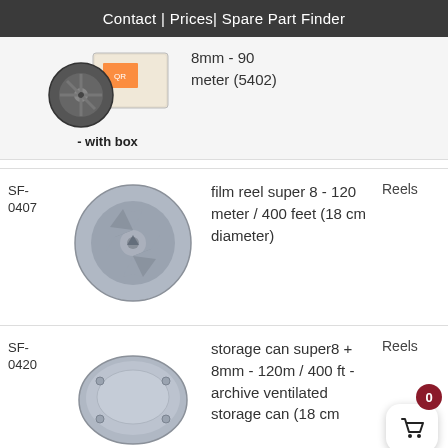Contact | Prices| Spare Part Finder
[Figure (photo): Film reel with box - 8mm 90 meter product image with caption '- with box']
8mm - 90 meter (5402)
SF-0407
[Figure (photo): Grey plastic film reel super 8 - 120 meter / 400 feet, 18 cm diameter]
film reel super 8 - 120 meter / 400 feet (18 cm diameter)
Reels
SF-0420
[Figure (photo): Grey plastic storage can super8 + 8mm, 120m / 400 ft, archive ventilated, 18 cm diameter]
storage can super8 + 8mm - 120m / 400 ft - archive ventilated storage can (18 cm
Reels